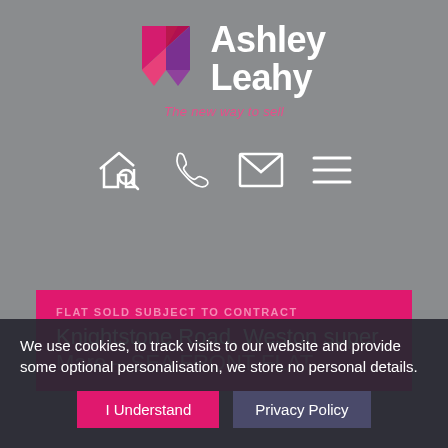[Figure (logo): Ashley Leahy estate agency logo with geometric diamond shape in pink/red/purple gradient and white text 'Ashley Leahy' with tagline 'The new way to sell' in pink italic]
[Figure (infographic): Navigation icons: house with magnifying glass, phone handset, envelope, hamburger menu — all white outlines on gray background]
FLAT SOLD SUBJECT TO CONTRACT
Knightstone Road, Weston super
Mare – SEA FRONT FLAT
We use cookies, to track visits to our website and provide some optional personalisation, we store no personal details.
I Understand
Privacy Policy